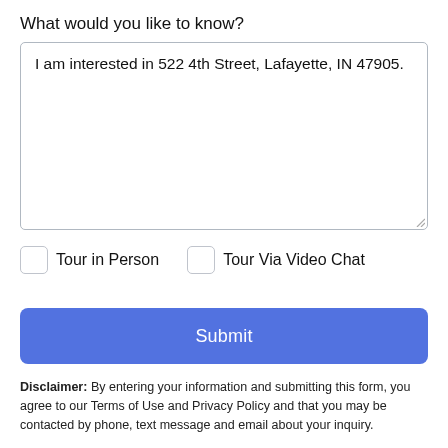What would you like to know?
I am interested in 522 4th Street, Lafayette, IN 47905.
Tour in Person
Tour Via Video Chat
Submit
Disclaimer: By entering your information and submitting this form, you agree to our Terms of Use and Privacy Policy and that you may be contacted by phone, text message and email about your inquiry.
Take a Tour
Ask A Question